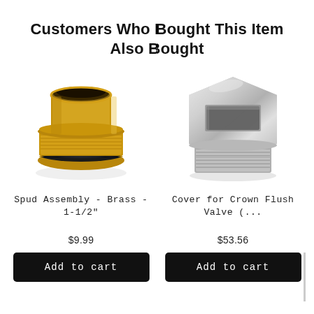Customers Who Bought This Item Also Bought
[Figure (photo): Brass spud assembly fitting with threaded exterior and black rubber ring at base, top-down angled view]
[Figure (photo): Chrome cover cap for Crown flush valve, hexagonal top with threaded cylindrical base, polished chrome finish]
Spud Assembly - Brass - 1-1/2"
Cover for Crown Flush Valve (...
$9.99
$53.56
Add to cart
Add to cart